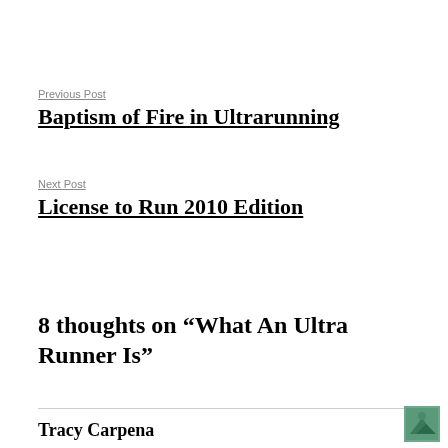Previous Post
Baptism of Fire in Ultrarunning
Next Post
License to Run 2010 Edition
8 thoughts on “What An Ultra Runner Is”
Tracy Carpena